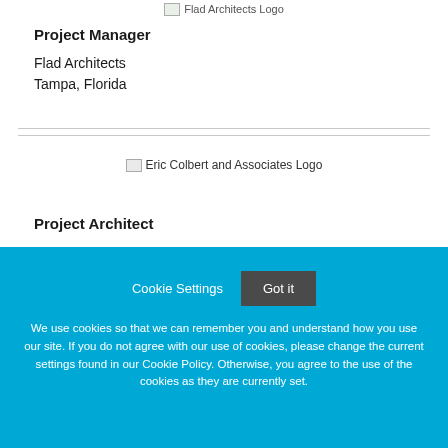[Figure (logo): Flad Architects Logo (partially visible at top of page)]
Project Manager
Flad Architects
Tampa, Florida
[Figure (logo): Eric Colbert and Associates Logo]
Project Architect
Cookie Settings   Got it

We use cookies so that we can remember you and understand how you use our site. If you do not agree with our use of cookies, please change the current settings found in our Cookie Policy. Otherwise, you agree to the use of the cookies as they are currently set.